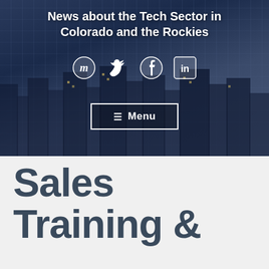[Figure (photo): City skyline at night with buildings lit up, dark blue-toned background serving as hero image for a tech news website about Colorado and the Rockies]
News about the Tech Sector in Colorado and the Rockies
[Figure (infographic): Social media icons: Meetup, Twitter, Facebook, LinkedIn displayed horizontally in white on dark background]
☰ Menu
Sales Training &